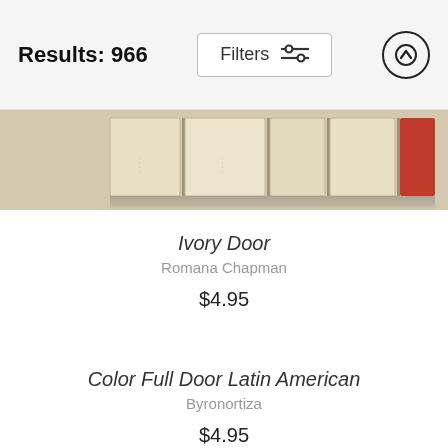Results: 966   Filters
[Figure (photo): Partial view of a row of book spines, showing light cream/ivory colored books with one red accent book spine on the right edge.]
Ivory Door
Romana Chapman
$4.95
Color Full Door Latin American
Byronortiza
$4.95
Rustic Abandoned Door